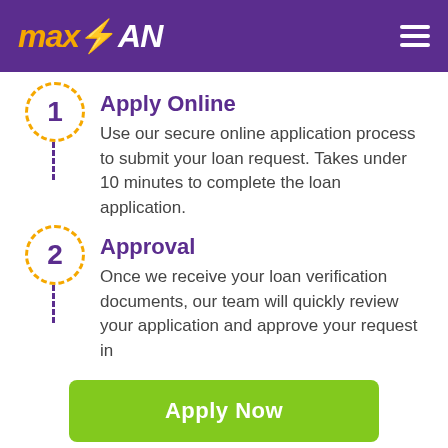[Figure (logo): MaxLoan logo with lightning bolt on purple header background, with hamburger menu icon on right]
1 Apply Online
Use our secure online application process to submit your loan request. Takes under 10 minutes to complete the loan application.
2 Approval
Once we receive your loan verification documents, our team will quickly review your application and approve your request in
Apply Now
Applying does NOT affect your credit score!
No credit check to apply.